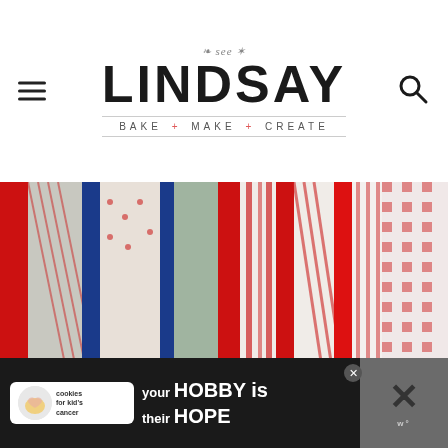see LINDSAY — BAKE + MAKE + CREATE
[Figure (photo): Close-up photo of colorful red, white, and blue fabric ribbons and strips arranged vertically, featuring patterns like gingham, polka dots, and stripes]
[Figure (infographic): Advertisement banner: Cookies for Kid's Cancer — 'your HOBBY is their HOPE']